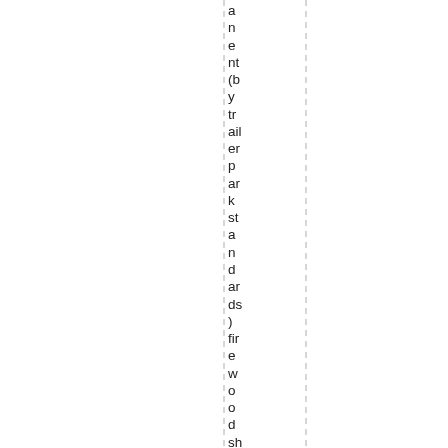anent (by trailer park standards) firewood shelter. It